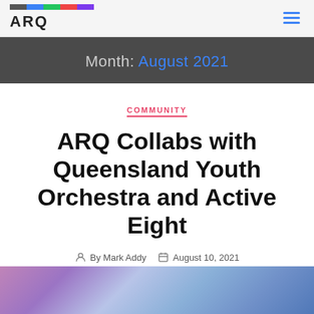ARQ
Month: August 2021
COMMUNITY
ARQ Collabs with Queensland Youth Orchestra and Active Eight
By Mark Addy   August 10, 2021
[Figure (photo): A blurred purple and blue photo strip showing musicians or performers]